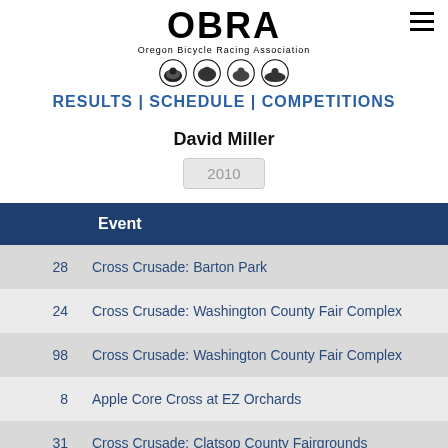[Figure (logo): OBRA Oregon Bicycle Racing Association logo with four circular sport icons]
RESULTS | SCHEDULE | COMPETITIONS
David Miller
2010
|  | Event |
| --- | --- |
| 28 | Cross Crusade: Barton Park |
| 24 | Cross Crusade: Washington County Fair Complex |
| 98 | Cross Crusade: Washington County Fair Complex |
| 8 | Apple Core Cross at EZ Orchards |
| 31 | Cross Crusade: Clatsop County Fairgrounds |